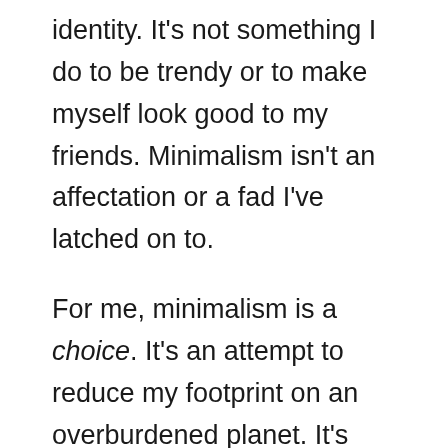identity. It's not something I do to be trendy or to make myself look good to my friends. Minimalism isn't an affectation or a fad I've latched on to.
For me, minimalism is a choice. It's an attempt to reduce my footprint on an overburdened planet. It's about having enough and not much more. At a material level, minimalism is a focus on what you need rather than on what you want.
Do I really need that 52 inch TV? No. Do I